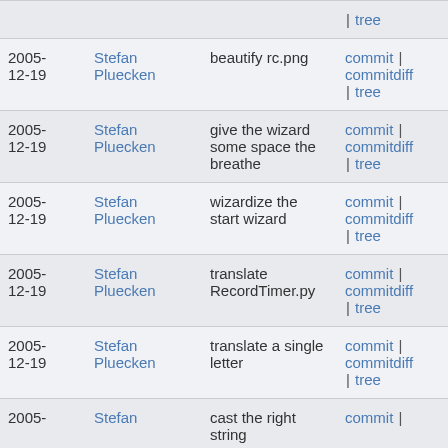| Date | Author | Message | Links |
| --- | --- | --- | --- |
|  |  |  | | tree |
| 2005-12-19 | Stefan Pluecken | beautify rc.png | commit | commitdiff | tree |
| 2005-12-19 | Stefan Pluecken | give the wizard some space the breathe | commit | commitdiff | tree |
| 2005-12-19 | Stefan Pluecken | wizardize the start wizard | commit | commitdiff | tree |
| 2005-12-19 | Stefan Pluecken | translate RecordTimer.py | commit | commitdiff | tree |
| 2005-12-19 | Stefan Pluecken | translate a single letter | commit | commitdiff | tree |
| 2005- | Stefan | cast the right string | commit | |